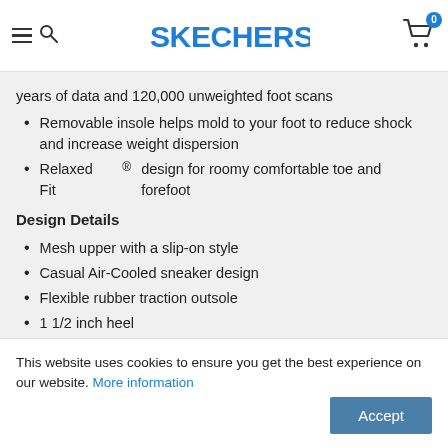Skechers navigation header with menu, search, logo, and cart
years of data and 120,000 unweighted foot scans
Removable insole helps mold to your foot to reduce shock and increase weight dispersion
Relaxed Fit ® design for roomy comfortable toe and forefoot
Design Details
Mesh upper with a slip-on style
Casual Air-Cooled sneaker design
Flexible rubber traction outsole
1 1/2 inch heel
This website uses cookies to ensure you get the best experience on our website. More information